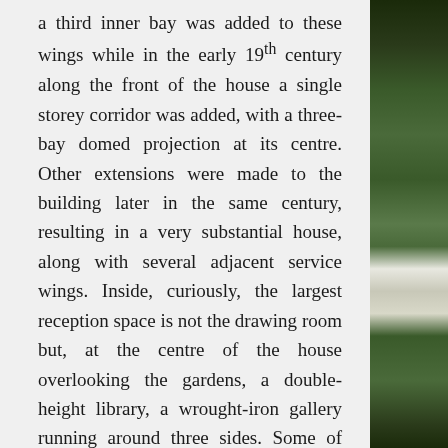a third inner bay was added to these wings while in the early 19th century along the front of the house a single storey corridor was added, with a three-bay domed projection at its centre. Other extensions were made to the building later in the same century, resulting in a very substantial house, along with several adjacent service wings. Inside, curiously, the largest reception space is not the drawing room but, at the centre of the house overlooking the gardens, a double-height library, a wrought-iron gallery running around three sides. Some of this work was presumably undertaken by the second Earl who inherited title and estate from his unmarried elder brother; rising to the rank of General the former had enjoyed a distinguished military career, not least in Egypt during the French Wars, and as a result had been granted his
[Figure (photo): A vertical strip showing foliage/trees (green vegetation) on the right side of the page, with a narrow white/light area suggesting a building or pathway visible through the trees.]